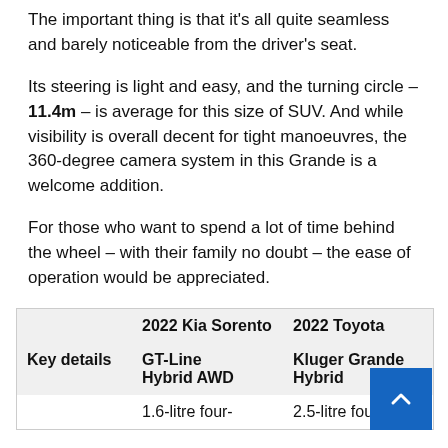The important thing is that it’s all quite seamless and barely noticeable from the driver’s seat.
Its steering is light and easy, and the turning circle – 11.4m – is average for this size of SUV. And while visibility is overall decent for tight manoeuvres, the 360-degree camera system in this Grande is a welcome addition.
For those who want to spend a lot of time behind the wheel – with their family no doubt – the ease of operation would be appreciated.
| Key details | 2022 Kia Sorento GT-Line Hybrid AWD | 2022 Toyota Kluger Grande Hybrid |
| --- | --- | --- |
|  | 1.6-litre four- | 2.5-litre four- |